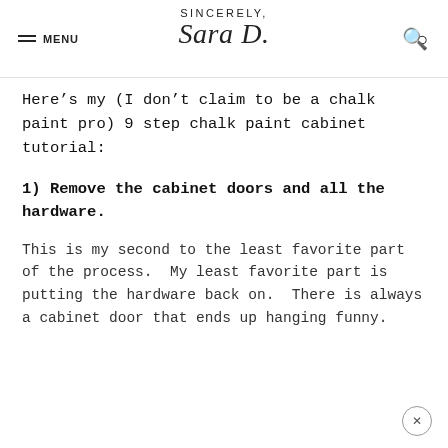SINCERELY, Sara D.
Here’s my (I don’t claim to be a chalk paint pro) 9 step chalk paint cabinet tutorial:
1) Remove the cabinet doors and all the hardware.
This is my second to the least favorite part of the process.  My least favorite part is putting the hardware back on.  There is always a cabinet door that ends up hanging funny.